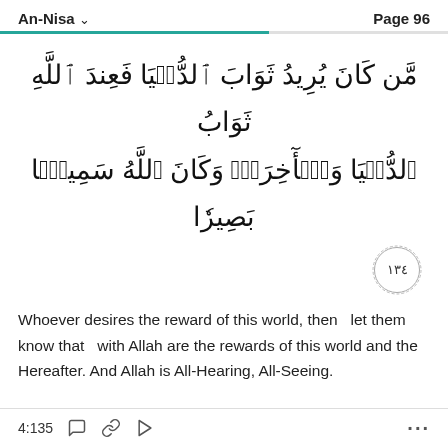An-Nisa   Page 96
مَّن كَانَ يُرِيدُ ثَوَابَ ٱلدُّنۡيَا فَعِندَ ٱللَّهِ ثَوَابُ ٱلدُّنۡيَا وَٱلۡأٓخِرَةِۚ وَكَانَ ٱللَّهُ سَمِيعَۢا بَصِيرٗا
١٣٤
Whoever desires the reward of this world, then   let them know that   with Allah are the rewards of this world and the Hereafter. And Allah is All-Hearing, All-Seeing.
4:135